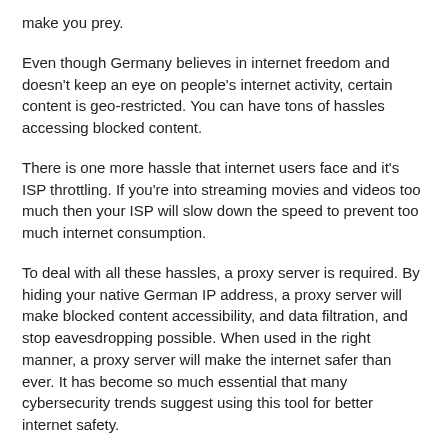make you prey.
Even though Germany believes in internet freedom and doesn't keep an eye on people's internet activity, certain content is geo-restricted. You can have tons of hassles accessing blocked content.
There is one more hassle that internet users face and it's ISP throttling. If you're into streaming movies and videos too much then your ISP will slow down the speed to prevent too much internet consumption.
To deal with all these hassles, a proxy server is required. By hiding your native German IP address, a proxy server will make blocked content accessibility, and data filtration, and stop eavesdropping possible. When used in the right manner, a proxy server will make the internet safer than ever. It has become so much essential that many cybersecurity trends suggest using this tool for better internet safety.